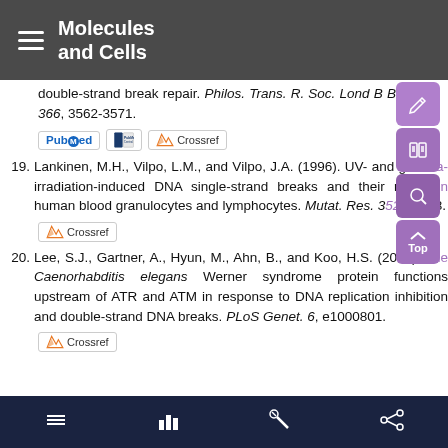Molecules and Cells
double-strand break repair. Philos. Trans. R. Soc. Lond B Biol. Sci. 366, 3562-3571.
19. Lankinen, M.H., Vilpo, L.M., and Vilpo, J.A. (1996). UV- and gamma-irradiation-induced DNA single-strand breaks and their repair in human blood granulocytes and lymphocytes. Mutat. Res. 352, 31-38.
20. Lee, S.J., Gartner, A., Hyun, M., Ahn, B., and Koo, H.S. (2010). The Caenorhabditis elegans Werner syndrome protein functions upstream of ATR and ATM in response to DNA replication inhibition and double-strand DNA breaks. PLoS Genet. 6, e1000801.
navigation icons